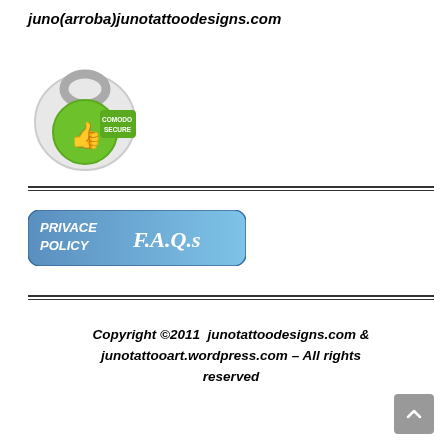juno(arroba)junotattoodesigns.com
[Figure (logo): Comodo Secure badge with padlock icon and green thumbs-up symbol]
[Figure (infographic): Blue rounded rectangle banner with text 'PRIVACE POLICY F.A.Q.s' in white italic lettering]
Copyright ©2011  junotattoodesigns.com & junotattooart.wordpress.com – All rights reserved